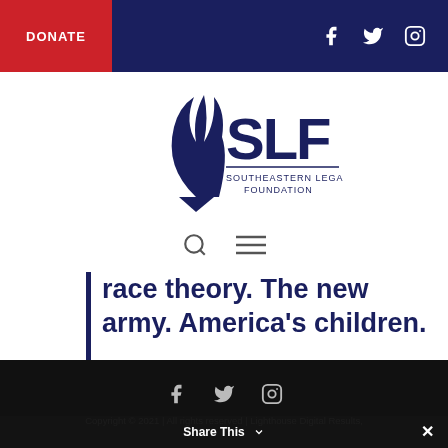DONATE | [social icons: Facebook, Twitter, Instagram]
[Figure (logo): SLF Southeastern Legal Foundation logo — large stylized torch/flame with letters SLF and text SOUTHEASTERN LEGAL FOUNDATION beneath]
race theory. The new army. America's children.
Read the full article at FoxNews.com.
Copyright © 2021 | All rights reserved | Lighthouse Digital Results,
Share This